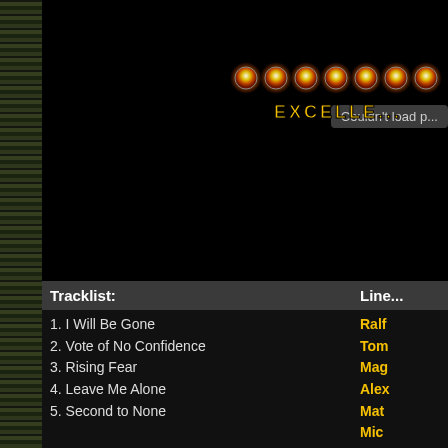[Figure (screenshot): Black background area with 'Couldn't load p...' error message partially visible at top right, and a rating graphic showing golden circular icons with 'EXCELLE...' text partially cut off at bottom right]
Tracklist:
Line...
1. I Will Be Gone
2. Vote of No Confidence
3. Rising Fear
4. Leave Me Alone
5. Second to None
Ralf
Tom
Mag
Alex
Mat
Mic